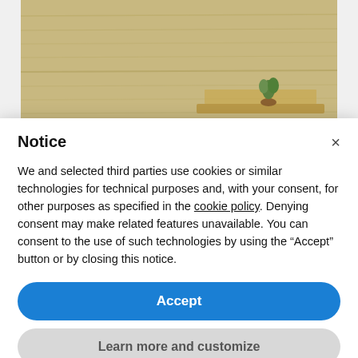[Figure (photo): Photo of light wood grain flooring with a wooden shelf/table and small plant in the background, partially obscured by a cookie consent modal overlay.]
FINISHING OFF
Notice
We and selected third parties use cookies or similar technologies for technical purposes and, with your consent, for other purposes as specified in the cookie policy. Denying consent may make related features unavailable. You can consent to the use of such technologies by using the “Accept” button or by closing this notice.
Accept
Learn more and customize